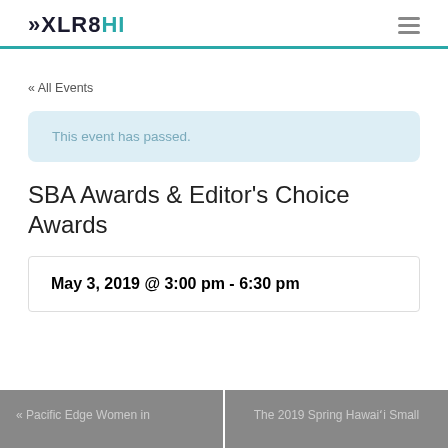XLR8HI
« All Events
This event has passed.
SBA Awards & Editor's Choice Awards
May 3, 2019 @ 3:00 pm - 6:30 pm
« Pacific Edge Women in
The 2019 Spring Hawai'i Small